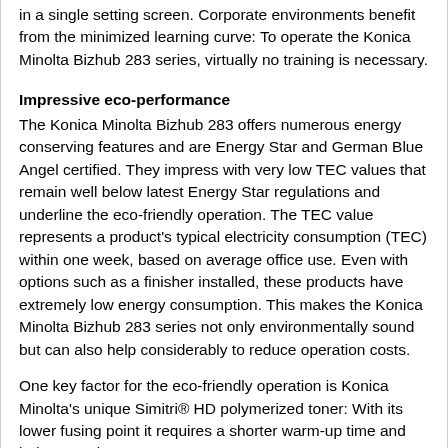in a single setting screen. Corporate environments benefit from the minimized learning curve: To operate the Konica Minolta Bizhub 283 series, virtually no training is necessary.
Impressive eco-performance
The Konica Minolta Bizhub 283 offers numerous energy conserving features and are Energy Star and German Blue Angel certified. They impress with very low TEC values that remain well below latest Energy Star regulations and underline the eco-friendly operation. The TEC value represents a product's typical electricity consumption (TEC) within one week, based on average office use. Even with options such as a finisher installed, these products have extremely low energy consumption. This makes the Konica Minolta Bizhub 283 series not only environmentally sound but can also help considerably to reduce operation costs.
One key factor for the eco-friendly operation is Konica Minolta's unique Simitri® HD polymerized toner: With its lower fusing point it requires a shorter warm-up time and helps to reduce energy